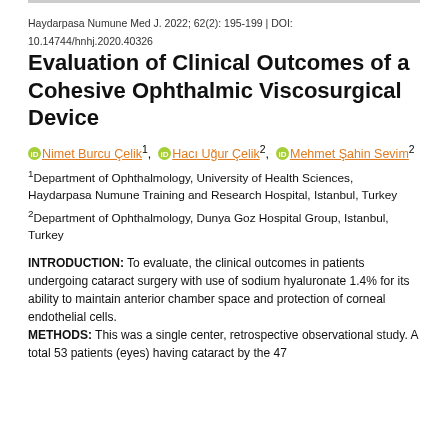Haydarpasa Numune Med J. 2022; 62(2): 195-199 | DOI: 10.14744/hnhj.2020.40326
Evaluation of Clinical Outcomes of a Cohesive Ophthalmic Viscosurgical Device
Nimet Burcu Çelik1, Hacı Uğur Çelik2, Mehmet Şahin Sevim2
1Department of Ophthalmology, University of Health Sciences, Haydarpasa Numune Training and Research Hospital, Istanbul, Turkey
2Department of Ophthalmology, Dunya Goz Hospital Group, Istanbul, Turkey
INTRODUCTION: To evaluate, the clinical outcomes in patients undergoing cataract surgery with use of sodium hyaluronate 1.4% for its ability to maintain anterior chamber space and protection of corneal endothelial cells.
METHODS: This was a single center, retrospective observational study. A total 53 patients (eyes) having cataract by the 47...